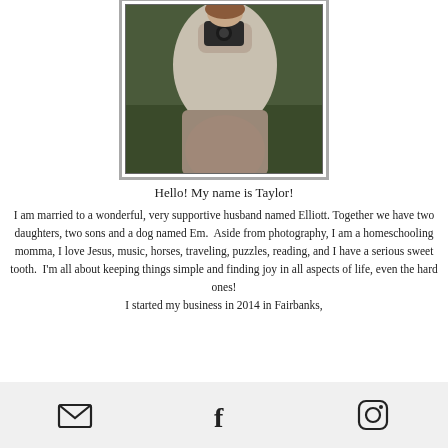[Figure (photo): A woman in a light grey cardigan holding a camera, standing outdoors with a blurred green background. Framed with a double border.]
Hello! My name is Taylor!
I am married to a wonderful, very supportive husband named Elliott. Together we have two daughters, two sons and a dog named Em.  Aside from photography, I am a homeschooling momma, I love Jesus, music, horses, traveling, puzzles, reading, and I have a serious sweet tooth.  I'm all about keeping things simple and finding joy in all aspects of life, even the hard ones!
I started my business in 2014 in Fairbanks,
[Figure (infographic): Footer bar with three social media icons: email (envelope), Facebook (f), and Instagram (camera outline).]